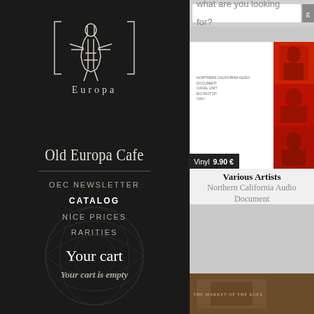[Figure (logo): Old Europa Cafe logo — stylized figures with text 'Europa' at bottom, white/cream line art on dark background]
Old Europa Cafe
OEC NEWSLETTER
CATALOG
NICE PRICES
RARITIES
Your cart
Your cart is empty
what are you looking for?
[Figure (photo): Album cover for 'Northern California Audio Document' by Various Artists — white cover with small text on left, three red-tinted photos of people on right side]
Vinyl  9.90 €
Various Artists
Northern California Audio Document
[Figure (photo): Partial view of second album/product cover with brown/sepia tones, partially visible at bottom]